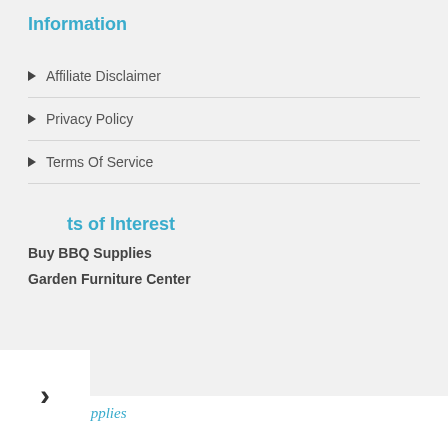Information
Affiliate Disclaimer
Privacy Policy
Terms Of Service
ts of Interest
Buy BBQ Supplies
Garden Furniture Center
PaintingSupplies